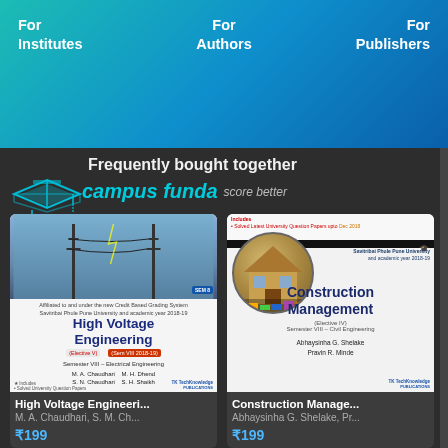For Institutes   For Authors   For Publishers
[Figure (logo): Campus Funda logo — graduation cap with circuit board design, teal/blue color]
Frequently bought together
campus funda   score better
[Figure (illustration): Book cover: High Voltage Engineering — M. A. Chaudhari, S. N. Chaudhari, M. H. Dhend, S. H. Shaikh. TechKnowledge Publications. Semester VIII Electrical Engineering.]
[Figure (illustration): Book cover: Construction Management — Abhaysinha G. Shelake, Pravin R. Minde. TechKnowledge Publications. Elective IV, Semester VIII Civil Engineering, Savitribai Phule Pune University.]
High Voltage Engineeri...
M. A. Chaudhari, S. M. Ch...
₹199
Construction Manage...
Abhaysinha G. Shelake, Pr...
₹199